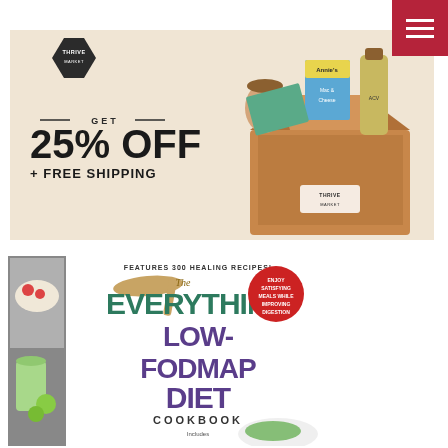[Figure (illustration): Thrive Market promotional banner: logo in hexagon shape top left, text 'GET 25% OFF + FREE SHIPPING' center-left, grocery products (Annie's mac and cheese, apple cider vinegar bottle, jar) spilling out of a Thrive Market branded cardboard box on the right, beige background]
[Figure (illustration): Navigation hamburger menu icon — three white horizontal lines on a red square background, top right corner]
[Figure (illustration): Book cover of 'The Everything Low-FODMAP Diet Cookbook' — grey sidebar on left with food image, 'FEATURES 300 HEALING RECIPES!' at top, red circular badge saying 'ENJOY SATISFYING MEALS WHILE IMPROVING DIGESTION', title in large teal and purple text, wooden spoon graphic, food images on left and bottom]